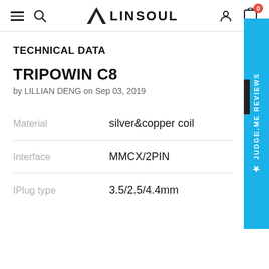LINSOUL
TECHNICAL DATA
TRIPOWIN C8
by LILLIAN DENG on Sep 03, 2019
| Property | Value |
| --- | --- |
| Material | silver&copper coil |
| Interface | MMCX/2PIN |
| IPlug type | 3.5/2.5/4.4mm |